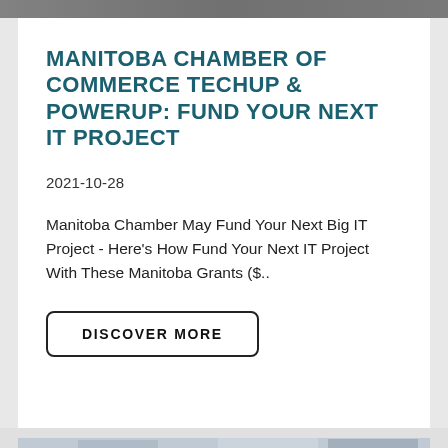[Figure (photo): Cropped top image bar, dark photo strip at top of page]
MANITOBA CHAMBER OF COMMERCE TECHUP & POWERUP: FUND YOUR NEXT IT PROJECT
2021-10-28
Manitoba Chamber May Fund Your Next Big IT Project - Here's How Fund Your Next IT Project With These Manitoba Grants ($..
DISCOVER MORE
[Figure (photo): Bottom photo showing business professionals meeting in an office with glass walls, partially visible]